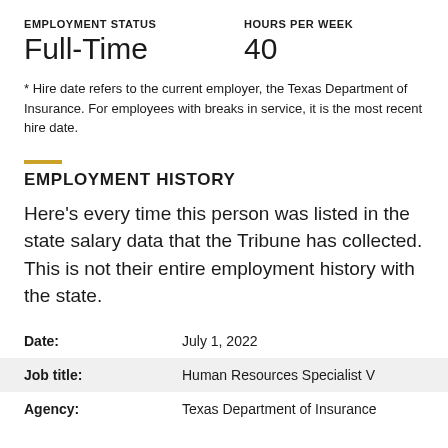EMPLOYMENT STATUS
HOURS PER WEEK
Full-Time
40
* Hire date refers to the current employer, the Texas Department of Insurance. For employees with breaks in service, it is the most recent hire date.
EMPLOYMENT HISTORY
Here's every time this person was listed in the state salary data that the Tribune has collected. This is not their entire employment history with the state.
| Field | Value |
| --- | --- |
| Date: | July 1, 2022 |
| Job title: | Human Resources Specialist V |
| Agency: | Texas Department of Insurance |